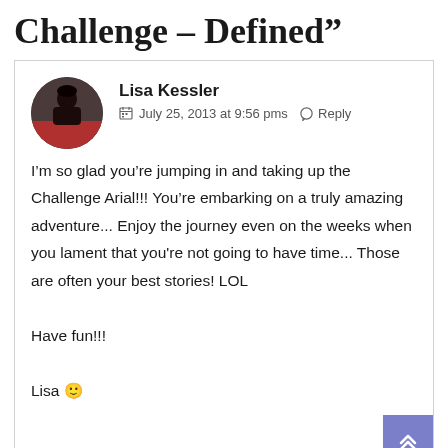Challenge – Defined”
Lisa Kessler
July 25, 2013 at 9:56 pms  Reply
I’m so glad you’re jumping in and taking up the Challenge Arial!!! You’re embarking on a truly amazing adventure... Enjoy the journey even on the weeks when you lament that you're not going to have time... Those are often your best stories! LOL

Have fun!!!

Lisa 🙂